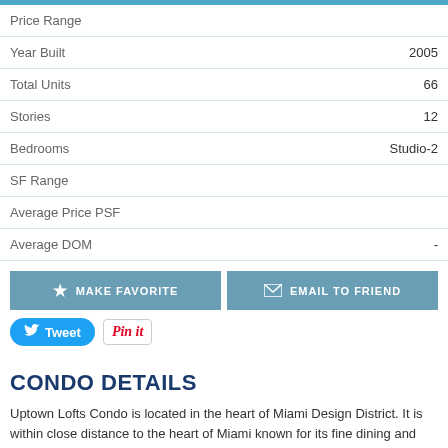| Field | Value |
| --- | --- |
| Price Range |  |
| Year Built | 2005 |
| Total Units | 66 |
| Stories | 12 |
| Bedrooms | Studio-2 |
| SF Range |  |
| Average Price PSF |  |
| Average DOM | - |
MAKE FAVORITE
EMAIL TO FRIEND
Tweet
Pin it
CONDO DETAILS
Uptown Lofts Condo is located in the heart of Miami Design District. It is within close distance to the heart of Miami known for its fine dining and shops. Uptown lofts offers many amenities which include pet friendly